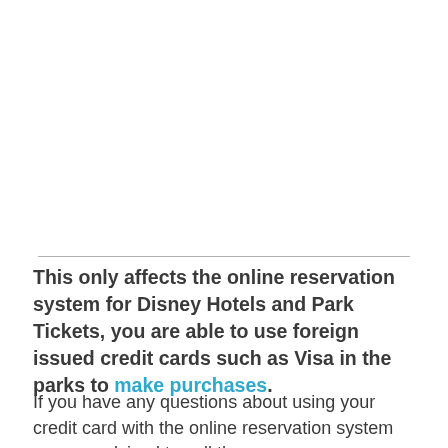This only affects the online reservation system for Disney Hotels and Park Tickets, you are able to use foreign issued credit cards such as Visa in the parks to make purchases.
If you have any questions about using your credit card with the online reservation system you are advised to call the